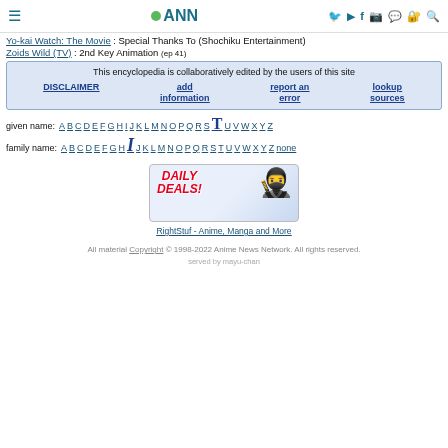≡ •ANN [social icons]
Yo-kai Watch: The Movie : Special Thanks To (Shochiku Entertainment)
Zoids Wild (TV) : 2nd Key Animation (ep 41)
This encyclopedia is collaboratively edited by the users of this site
DISCLAIMER | add information | report an error | lookup sources
given name: A B C D E F G H I J K L M N O P Q R S T U V W X Y Z
family name: A B C D E F G H I J K L M N O P Q R S T U V W X Y Z none
[Figure (other): Daily Deals advertisement banner with ninja character for RightStuf]
RightStuf - Anime, Manga and More
All material Copyright © 1998-2022 Anime News Network. All rights reserved.
served by mayu-chan